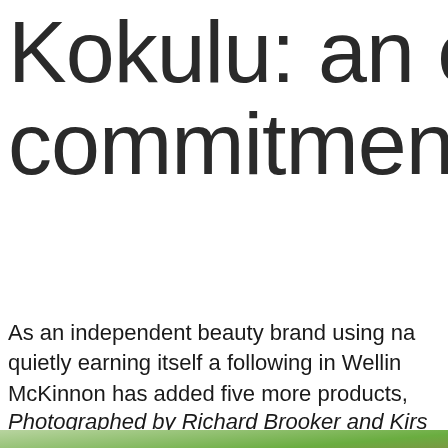Kokulu: an ethic commitment to
As an independent beauty brand using na quietly earning itself a following in Welling McKinnon has added five more products,
Photographed by Richard Brooker and Kirs
[Figure (photo): Close-up photograph of a weathered log or piece of driftwood lying on grass, showing textured bark with earthy brown and grey tones, surrounded by green grass and plant shoots]